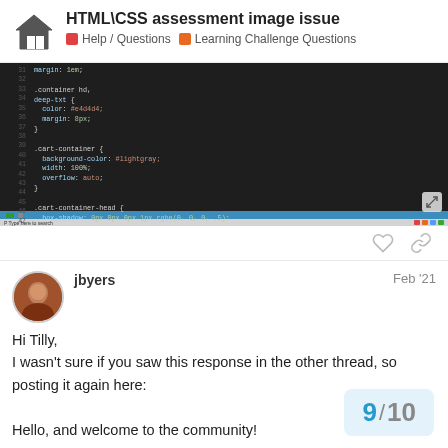HTML\CSS assessment image issue
Help / Questions   Learning Challenge Questions
[Figure (screenshot): Screenshot of a code editor (VS Code) showing CSS code with dark theme, with browser taskbar visible at bottom]
jbyers   Feb '21
Hi Tilly,
I wasn't sure if you saw this response in the other thread, so posting it again here:

Hello, and welcome to the community!